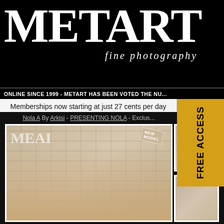METART fine photography
ONLINE SINCE 1999 - METART HAS BEEN VOTED THE NU...
Memberships now starting at just 27 cents per day
Nola A By Arkisi - PRESENTING NOLA - Exclus...
[Figure (photo): MetArt magazine cover featuring model Nola A with NEW MODEL badge, posed against woven wall background]
[Figure (photo): Side photo of model Nola A, partial view]
[Figure (photo): Second side photo of model Nola A, partial view]
FREE ACCESS